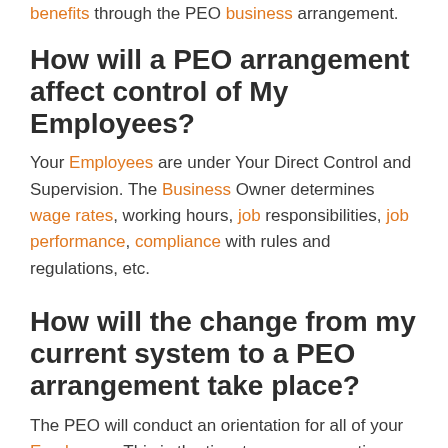benefits through the PEO business arrangement.
How will a PEO arrangement affect control of My Employees?
Your Employees are under Your Direct Control and Supervision. The Business Owner determines wage rates, working hours, job responsibilities, job performance, compliance with rules and regulations, etc.
How will the change from my current system to a PEO arrangement take place?
The PEO will conduct an orientation for all of your Employees. This is the time to answer questions and